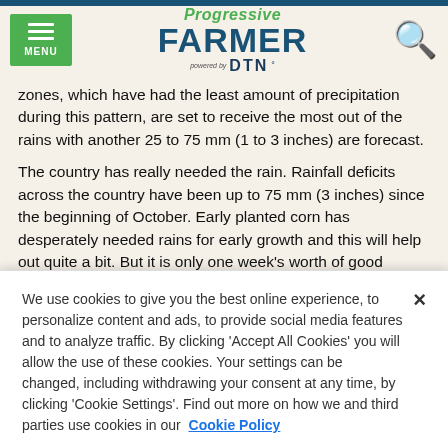Progressive FARMER powered by DTN
zones, which have had the least amount of precipitation during this pattern, are set to receive the most out of the rains with another 25 to 75 mm (1 to 3 inches) are forecast.
The country has really needed the rain. Rainfall deficits across the country have been up to 75 mm (3 inches) since the beginning of October. Early planted corn has desperately needed rains for early growth and this will help out quite a bit. But it is only one week's worth of good rainfall. The country will need much more to come
We use cookies to give you the best online experience, to personalize content and ads, to provide social media features and to analyze traffic. By clicking 'Accept All Cookies' you will allow the use of these cookies. Your settings can be changed, including withdrawing your consent at any time, by clicking 'Cookie Settings'. Find out more on how we and third parties use cookies in our Cookie Policy
Cookies Settings
Accept All Cookies